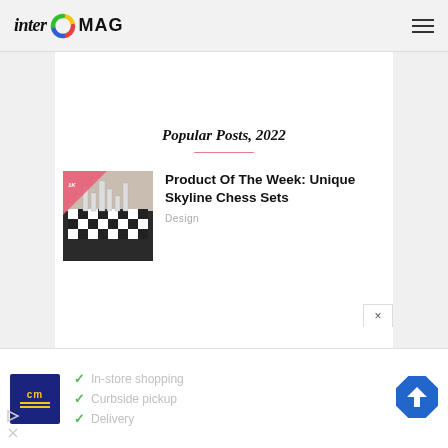inter MAG
Popular Posts, 2022
[Figure (photo): Chess set with skyline-shaped pieces on a black and white checkered board, with a pink triangle badge in top-left corner]
Product Of The Week: Unique Skyline Chess Sets
Design
[Figure (infographic): Advertisement banner with CM logo, checkmarks listing In-store shopping, Curbside pickup, and Delivery, with a blue navigation arrow icon on the right]